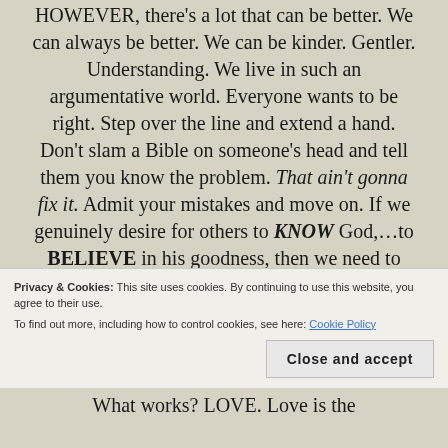HOWEVER, there's a lot that can be better. We can always be better. We can be kinder. Gentler. Understanding. We live in such an argumentative world. Everyone wants to be right. Step over the line and extend a hand. Don't slam a Bible on someone's head and tell them you know the problem. That ain't gonna fix it. Admit your mistakes and move on. If we genuinely desire for others to KNOW God,...to BELIEVE in his goodness, then we need to stop putting people in boxes (oh, the
Privacy & Cookies: This site uses cookies. By continuing to use this website, you agree to their use.
To find out more, including how to control cookies, see here: Cookie Policy
What works? LOVE. Love is the